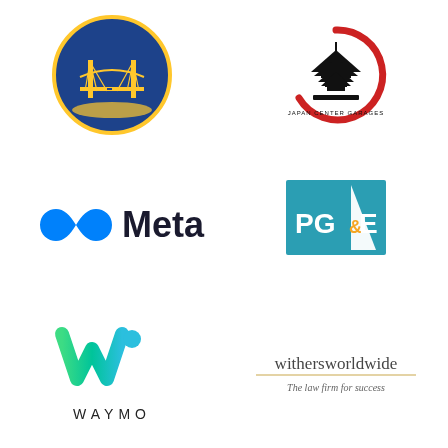[Figure (logo): Golden State Warriors NBA logo — blue circle with golden bridge and wave pattern]
[Figure (logo): Japan Center Garages logo — red enso circle with black pagoda silhouette, text reads JAPAN CENTER GARAGES]
[Figure (logo): Meta logo — blue infinity symbol followed by bold dark text 'Meta']
[Figure (logo): PG&E logo — teal/blue square with white sail shape and text PG&E, the ampersand in orange]
[Figure (logo): Waymo logo — green and teal W shape above text WAYMO in spaced capital letters]
[Figure (logo): Withersworldwide logo — text 'withersworldwide' with gold underline and italic tagline 'The law firm for success']